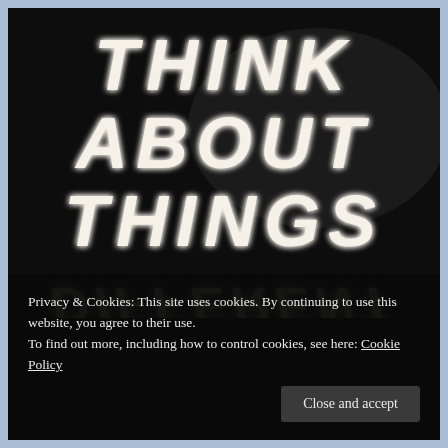[Figure (photo): Neon sign on dark background reading 'THINK ABOUT THINGS' in glowing white neon letters, with partially visible reflected/inverted text below]
Privacy & Cookies: This site uses cookies. By continuing to use this website, you agree to their use.
To find out more, including how to control cookies, see here: Cookie Policy
Close and accept